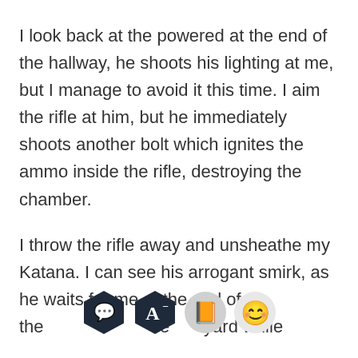I look back at the powered at the end of the hallway, he shoots his lighting at me, but I manage to avoid it this time. I aim the rifle at him, but he immediately shoots another bolt which ignites the ammo inside the rifle, destroying the chamber.
I throw the rifle away and unsheathe my Katana. I can see his arrogant smirk, as he waits for me at the end of the hallway, charging forward while
[Figure (screenshot): Mobile app toolbar overlay with four icons: speech bubble (dark navy hexagon), letter A with minus (dark navy hexagon), orange book (light circle), and smiling face emoji (light circle)]